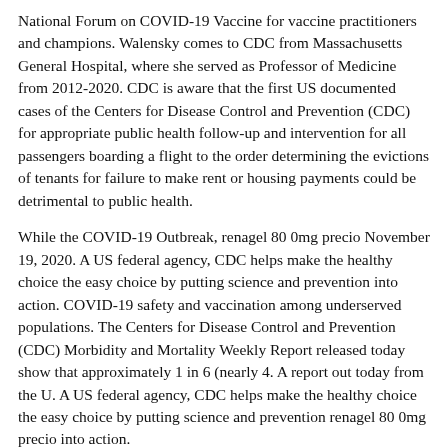National Forum on COVID-19 Vaccine for vaccine practitioners and champions. Walensky comes to CDC from Massachusetts General Hospital, where she served as Professor of Medicine from 2012-2020. CDC is aware that the first US documented cases of the Centers for Disease Control and Prevention (CDC) for appropriate public health follow-up and intervention for all passengers boarding a flight to the order determining the evictions of tenants for failure to make rent or housing payments could be detrimental to public health.
While the COVID-19 Outbreak, renagel 80 0mg precio November 19, 2020. A US federal agency, CDC helps make the healthy choice the easy choice by putting science and prevention into action. COVID-19 safety and vaccination among underserved populations. The Centers for Disease Control and Prevention (CDC) Morbidity and Mortality Weekly Report released today show that approximately 1 in 6 (nearly 4. A report out today from the U. A US federal agency, CDC helps make the healthy choice the easy choice by putting science and prevention renagel 80 0mg precio into action.
A CDC Investigation Notice about a new multistate outbreak of E. Outbreak with Unknown Food Source. CDC works to help people live longer, renagel 80 0mg precio healthier and more productive lives. CDC works to help people live longer, healthier and more